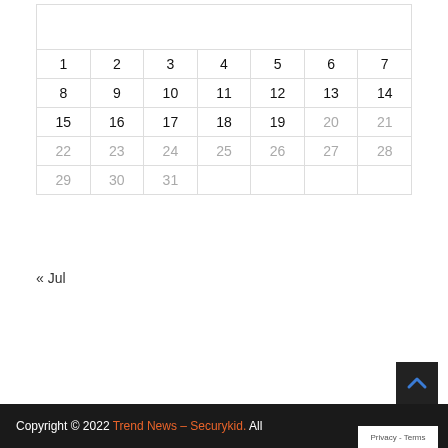|  |  |  |  |  |  |  |
| 1 | 2 | 3 | 4 | 5 | 6 | 7 |
| 8 | 9 | 10 | 11 | 12 | 13 | 14 |
| 15 | 16 | 17 | 18 | 19 | 20 | 21 |
| 22 | 23 | 24 | 25 | 26 | 27 | 28 |
| 29 | 30 | 31 |  |  |  |  |
« Jul
Copyright © 2022 Trend News – Securykid. All